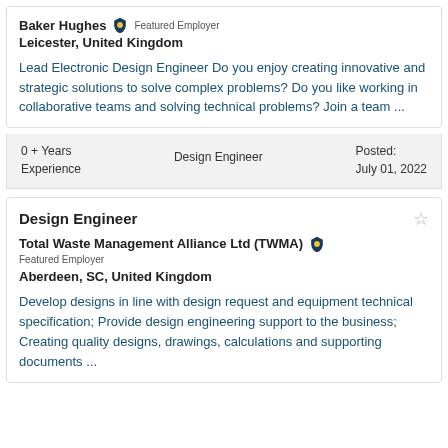Baker Hughes Featured Employer
Leicester, United Kingdom
Lead Electronic Design Engineer Do you enjoy creating innovative and strategic solutions to solve complex problems? Do you like working in collaborative teams and solving technical problems? Join a team ...
| Experience | Role | Posted |
| --- | --- | --- |
| 0 + Years Experience | Design Engineer | Posted:
July 01, 2022 |
Design Engineer
Total Waste Management Alliance Ltd (TWMA) Featured Employer
Aberdeen, SC, United Kingdom
Develop designs in line with design request and equipment technical specification; Provide design engineering support to the business; Creating quality designs, drawings, calculations and supporting documents ...